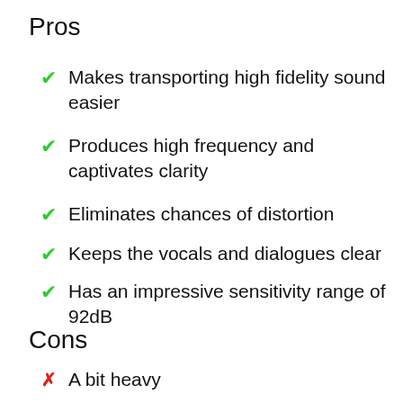Pros
Makes transporting high fidelity sound easier
Produces high frequency and captivates clarity
Eliminates chances of distortion
Keeps the vocals and dialogues clear
Has an impressive sensitivity range of 92dB
Cons
A bit heavy
Why Should You Buy Fluance Signature HFCW?